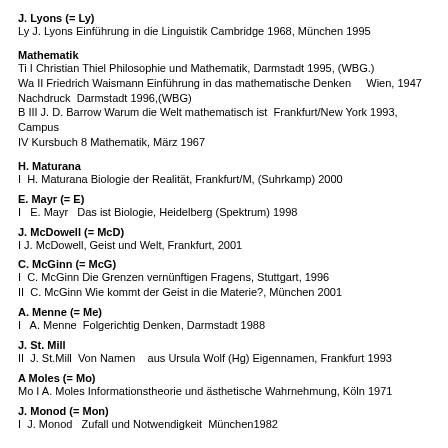J. Lyons (= Ly)
Ly  J. Lyons Einführung in die Linguistik Cambridge 1968, München 1995
Mathematik
Ti  I  Christian Thiel Philosophie und Mathematik, Darmstadt 1995, (WBG.)
Wa II  Friedrich Waismann Einführung in das mathematische Denken    Wien, 1947 Nachdruck  Darmstadt 1996,(WBG)
B III J. D. Barrow Warum die Welt mathematisch ist  Frankfurt/New York 1993, Campus
IV Kursbuch 8 Mathematik, März 1967
H. Maturana
I  H. Maturana Biologie der Realität, Frankfurt/M, (Suhrkamp) 2000
E. Mayr  (= E)
I   E. Mayr   Das ist Biologie, Heidelberg (Spektrum) 1998
J. McDowell (= McD)
I J. McDowell, Geist und Welt, Frankfurt, 2001
C. McGinn (= McG)
I  C. McGinn Die Grenzen vernünftigen Fragens, Stuttgart, 1996
II  C. McGinn Wie kommt der Geist in die Materie?, München 2001
A. Menne (= Me)
I   A. Menne  Folgerichtig Denken, Darmstadt 1988
J. St. Mill
II  J. St.Mill  Von Namen   aus Ursula Wolf (Hg) Eigennamen, Frankfurt 1993
A Moles (= Mo)
Mo I A. Moles Informationstheorie und ästhetische Wahrnehmung, Köln 1971
J. Monod (= Mon)
I  J. Monod   Zufall und Notwendigkeit  München1982